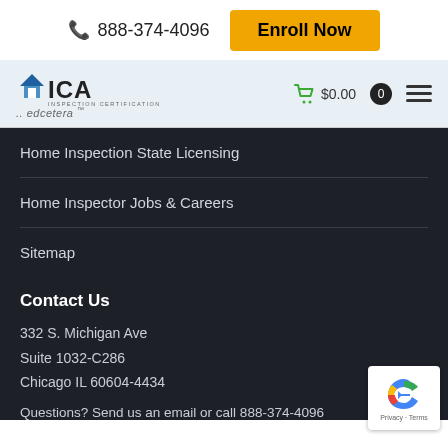📞 888-374-4096  Enroll Now
[Figure (logo): NICA Inspection Certification Associates logo with edcetera branding, cart showing $0.00, and hamburger menu]
Home Inspection State Licensing
Home Inspector Jobs & Careers
Sitemap
Contact Us
332 S. Michigan Ave
Suite 1032-C286
Chicago IL 60604-4434
Questions? Send us an email or call 888-374-4096